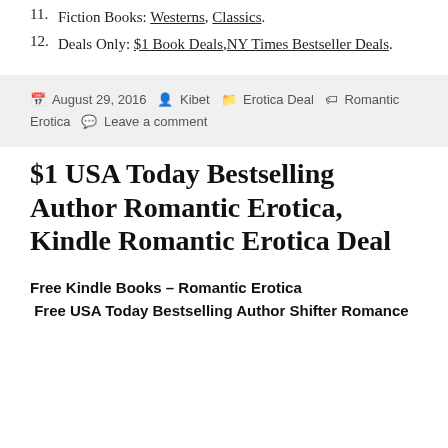11. Fiction Books: Westerns, Classics.
12. Deals Only: $1 Book Deals, NY Times Bestseller Deals.
August 29, 2016  Kibet  Erotica Deal  Romantic Erotica  Leave a comment
$1 USA Today Bestselling Author Romantic Erotica, Kindle Romantic Erotica Deal
Free Kindle Books – Romantic Erotica
 Free USA Today Bestselling Author Shifter Romance